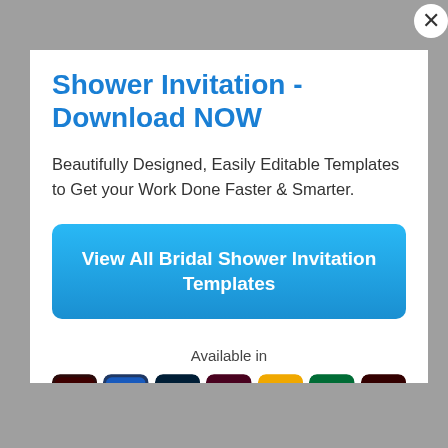Shower Invitation - Download NOW
Beautifully Designed, Easily Editable Templates to Get your Work Done Faster & Smarter.
View All Bridal Shower Invitation Templates
Available in
[Figure (logo): Row of application icons: Adobe Acrobat, Microsoft Word, Adobe Photoshop, Adobe InDesign, Apple Pages, Microsoft Publisher, Adobe Illustrator]